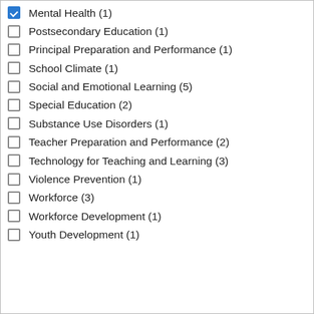Mental Health (1)
Postsecondary Education (1)
Principal Preparation and Performance (1)
School Climate (1)
Social and Emotional Learning (5)
Special Education (2)
Substance Use Disorders (1)
Teacher Preparation and Performance (2)
Technology for Teaching and Learning (3)
Violence Prevention (1)
Workforce (3)
Workforce Development (1)
Youth Development (1)